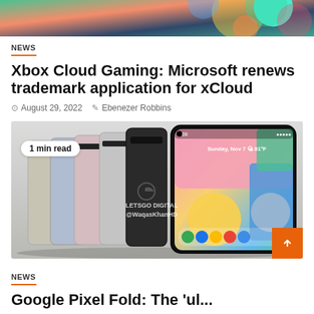[Figure (photo): Colorful top banner image with abstract gaming visuals, green and orange tones]
NEWS
Xbox Cloud Gaming: Microsoft renews trademark application for xCloud
August 29, 2022   Ebenezer Robbins
[Figure (photo): Render of multiple Google Pixel phones in different colors (beige, blue, pink, gray, black) fanned out showing the back, with the front phone showing a colorful Android home screen. Badge showing '1 min read'. Watermark: LETSGO DIGITAL @WaqasKhanHD]
NEWS
Google Pixel Fold: The 'ul...